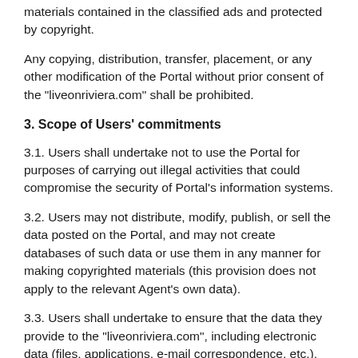materials contained in the classified ads and protected by copyright.
Any copying, distribution, transfer, placement, or any other modification of the Portal without prior consent of the "liveonriviera.com" shall be prohibited.
3. Scope of Users' commitments
3.1. Users shall undertake not to use the Portal for purposes of carrying out illegal activities that could compromise the security of Portal's information systems.
3.2. Users may not distribute, modify, publish, or sell the data posted on the Portal, and may not create databases of such data or use them in any manner for making copyrighted materials (this provision does not apply to the relevant Agent's own data).
3.3. Users shall undertake to ensure that the data they provide to the "liveonriviera.com", including electronic data (files, applications, e-mail correspondence, etc.), contact information, offer information and any other data that they have posted on the Portal: